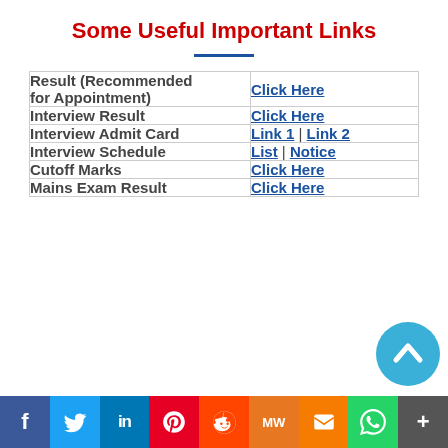Some Useful Important Links
|  |  |
| --- | --- |
| Result (Recommended for Appointment) | Click Here |
| Interview Result | Click Here |
| Interview Admit Card | Link 1 | Link 2 |
| Interview Schedule | List | Notice |
| Cutoff Marks | Click Here |
| Mains Exam Result | Click Here |
f | Twitter | in | Pinterest | Reddit | MW | Mix | WhatsApp | +